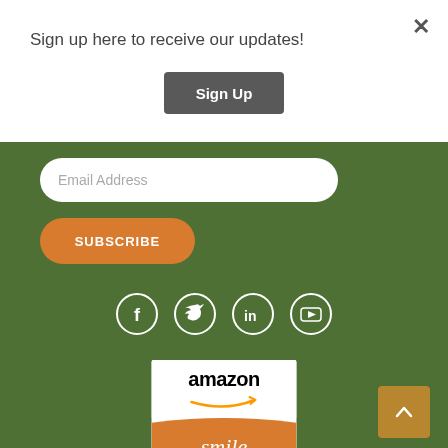×
Sign up here to receive our updates!
Sign Up
Email Address
SUBSCRIBE
[Figure (infographic): Social media icons: Facebook, Twitter, LinkedIn, YouTube — white circle outlines on green background]
[Figure (logo): Amazon Smile logo — white top with 'amazon' text and orange arrow smile, orange bottom with 'smile' text]
[Figure (other): Back to top button — tan/brown square with up arrow chevron]